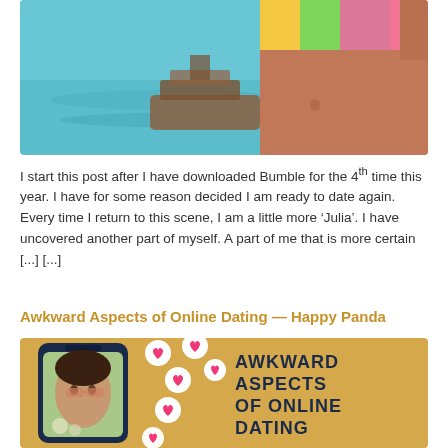[Figure (photo): Photo of a woman in a colorful bikini at the beach with a boat in the background on turquoise water]
I start this post after I have downloaded Bumble for the 4th time this year. I have for some reason decided I am ready to date again. Every time I return to this scene, I am a little more ‘Julia’. I have uncovered another part of myself. A part of me that is more certain [...] [...]
Awkward Aspects of Online Dating — Happy Panda
[Figure (illustration): Promotional image with gold background showing a smartphone with a woman's face on screen, pink heart icons floating around, and bold text reading AWKWARD ASPECTS OF ONLINE DATING]